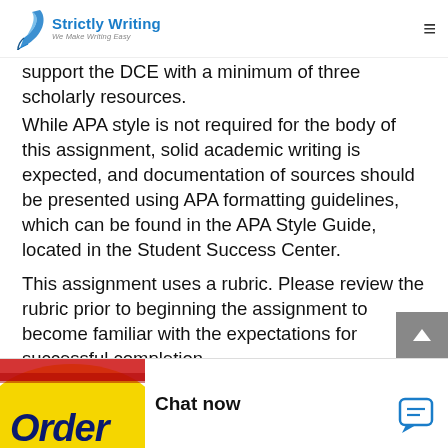Strictly Writing — We Make Writing Easy
support the DCE with a minimum of three scholarly resources.
While APA style is not required for the body of this assignment, solid academic writing is expected, and documentation of sources should be presented using APA formatting guidelines, which can be found in the APA Style Guide, located in the Student Success Center.
This assignment uses a rubric. Please review the rubric prior to beginning the assignment to become familiar with the expectations for successful completion.
[Figure (other): Chat now widget with order button partial image at bottom of page]